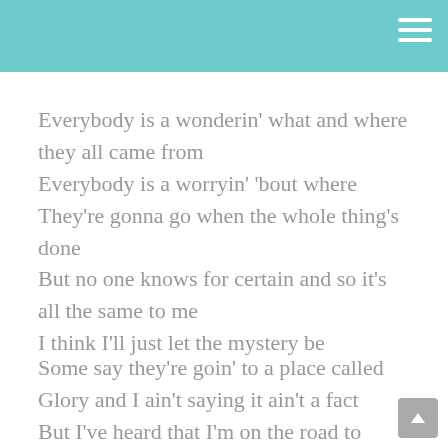Everybody is a wonderin' what and where they all came from
Everybody is a worryin' 'bout where
They're gonna go when the whole thing's done
But no one knows for certain and so it's all the same to me
I think I'll just let the mystery be
Some say they're goin' to a place called Glory and I ain't saying it ain't a fact
But I've heard that I'm on the road to Purgatory and I don't like the sound of that
Well, I believe in love and I live my life accordingly